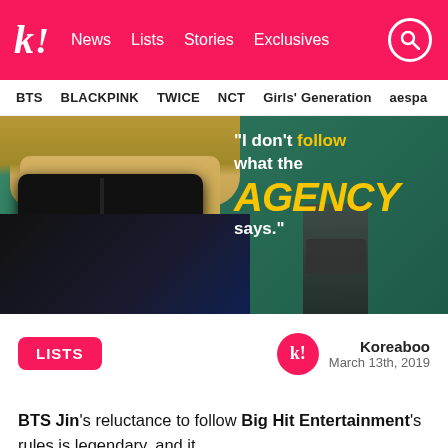k! News Lists Stories Exclusives
BTS BLACKPINK TWICE NCT Girls' Generation aespa
[Figure (photo): Photo of BTS Jin wearing black sunglasses and dark jacket at an outdoor event, overlaid with quote text: 'I don't follow what the AGENCY says.']
LISTS
Koreaboo
March 13th, 2019
BTS Jin's reluctance to follow Big Hit Entertainment's rules is legendary, and it